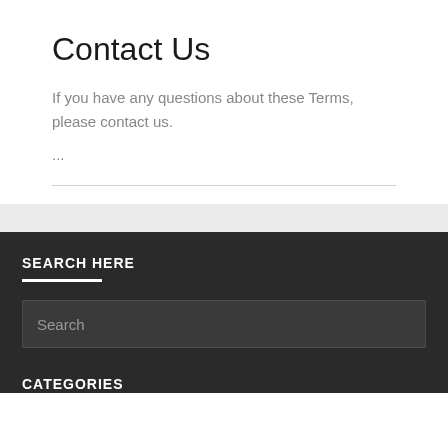Contact Us
If you have any questions about these Terms, please contact us.
...
SEARCH HERE
Search
CATEGORIES